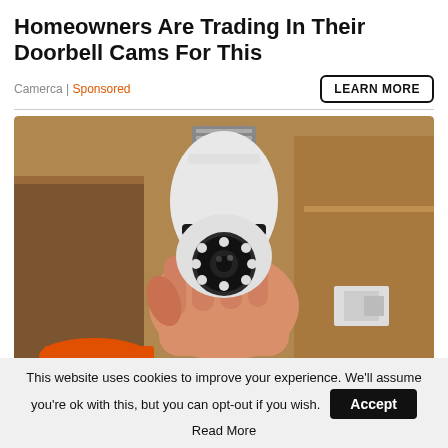Homeowners Are Trading In Their Doorbell Cams For This
Camerca | Sponsored
LEARN MORE
[Figure (photo): A hand holding a white light-bulb-shaped security camera with a circular lens surrounded by LED lights, against a background of cardboard boxes and shelving.]
This website uses cookies to improve your experience. We'll assume you're ok with this, but you can opt-out if you wish. Accept Read More